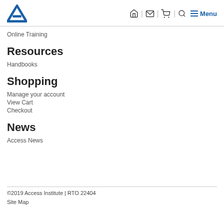Access Institute logo | Home | Mail | Cart | Search | Menu
Online Training
Resources
Handbooks
Shopping
Manage your account
View Cart
Checkout
News
Access News
©2019 Access Institute | RTO 22404
Site Map